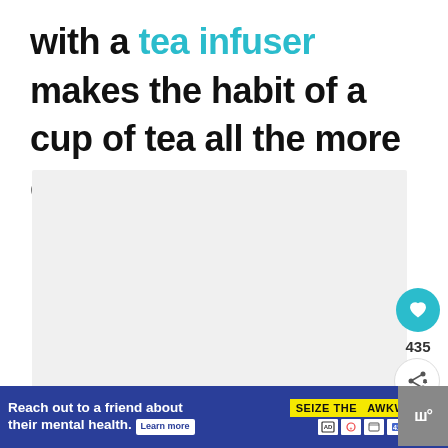with a tea infuser makes the habit of a cup of tea all the more creative and special!
[Figure (photo): Large light gray placeholder image rectangle]
[Figure (infographic): Side UI elements: heart/like button with count 435, share button, save button]
[Figure (infographic): Ad banner: blue background, text 'Reach out to a friend about their mental health. Learn more' with 'SEIZE THE AWKWARD' yellow badge and logos on right]